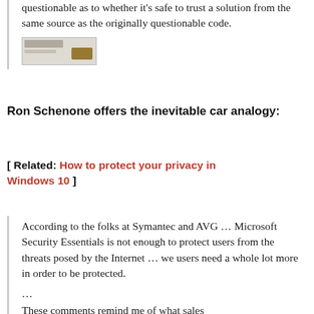questionable as to whether it's safe to trust a solution from the same source as the originally questionable code.
[Figure (screenshot): Small thumbnail image of a document or webpage with text and an icon/graphic]
Ron Schenone offers the inevitable car analogy:
[ Related: How to protect your privacy in Windows 10 ]
According to the folks at Symantec and AVG … Microsoft Security Essentials is not enough to protect users from the threats posed by the Internet … we users need a whole lot more in order to be protected.
...
These comments remind me of what sales